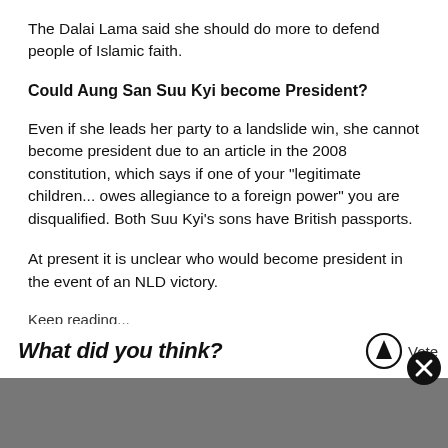The Dalai Lama said she should do more to defend people of Islamic faith.
Could Aung San Suu Kyi become President?
Even if she leads her party to a landslide win, she cannot become president due to an article in the 2008 constitution, which says if one of your "legitimate children... owes allegiance to a foreign power" you are disqualified. Both Suu Kyi's sons have British passports.
At present it is unclear who would become president in the event of an NLD victory.
Keep reading...
What did you think?
Vote